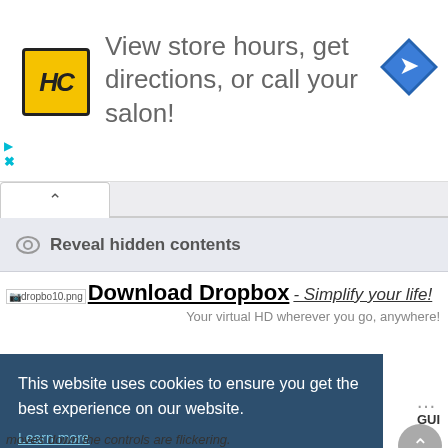[Figure (screenshot): Ad banner with HC logo (yellow square with HC letters), text 'View store hours, get directions, or call your salon!', and a blue navigation/directions diamond icon on the right. Small blue play and X close icons on left.]
[Figure (screenshot): UI tab row with up-arrow chevron tab and a 'Reveal hidden contents' bar with eye icon]
Reveal hidden contents
[Figure (screenshot): Dropbox advertisement with broken image placeholder 'dropbo10.png', bold underlined 'Download Dropbox', italic underlined '- Simplify your life!', and tagline 'Your virtual HD wherever you go, anywhere!']
Download Dropbox - Simplify your life! Your virtual HD wherever you go, anywhere!
[Figure (screenshot): Cookie consent banner with dark blue background saying 'This website uses cookies to ensure you get the best experience on our website.' with 'Learn more' link and 'Got it!' button]
This website uses cookies to ensure you get the best experience on our website.
Learn more
Got it!
GUI
moves down the controls are flickering.